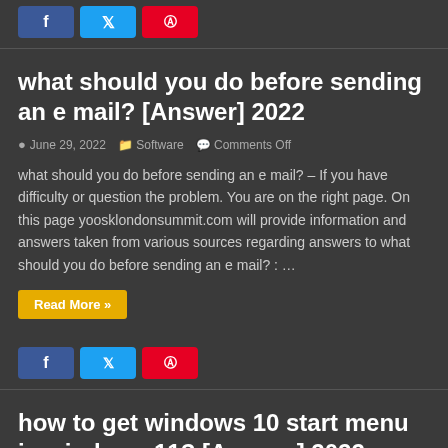[Figure (other): Social share buttons: Facebook (blue), Twitter (light blue), Pinterest (red) at top of page]
what should you do before sending an e mail? [Answer] 2022
June 29, 2022  Software  Comments Off
what should you do before sending an e mail? – If you have difficulty or question the problem. You are on the right page. On this page yoosklondonsummit.com will provide information and answers taken from various sources regarding answers to what should you do before sending an e mail? : …
Read More »
[Figure (other): Social share buttons: Facebook (blue), Twitter (light blue), Pinterest (red)]
how to get windows 10 start menu in windows 11? [Answer] 2022
June 29, 2022  Software  Comments Off